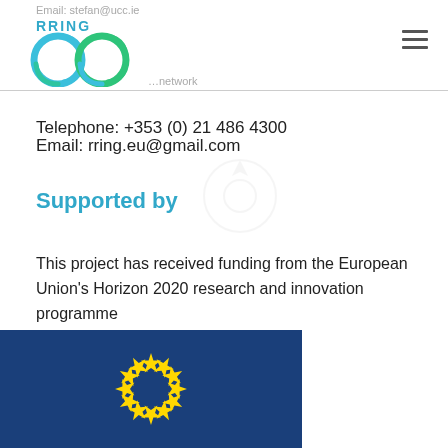Email: stefan@ucc.ie  RRING
Telephone: +353 (0) 21 486 4300
Email: rring.eu@gmail.com
Supported by
This project has received funding from the European Union's Horizon 2020 research and innovation programme
[Figure (photo): European Union flag with yellow stars on dark blue background]